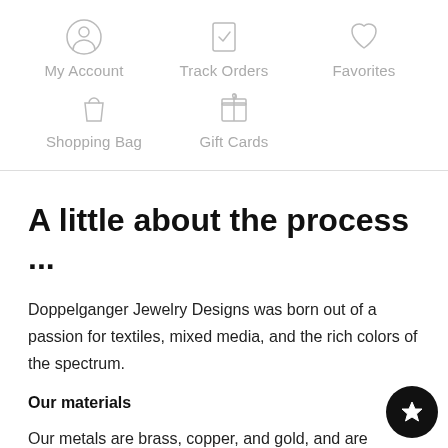[Figure (infographic): Navigation menu icons: My Account (person circle icon), Track Orders (clipboard check icon), Favorites (heart icon), Shopping Bag (bag icon), Gift Cards (gift box icon)]
My Account
Track Orders
Favorites
Shopping Bag
Gift Cards
A little about the process ...
Doppelganger Jewelry Designs was born out of a passion for textiles, mixed media, and the rich colors of the spectrum.
Our materials
Our metals are brass, copper, and gold, and are always nickel and lead-free. Our macrame cord is from Bobbiny, who provide a